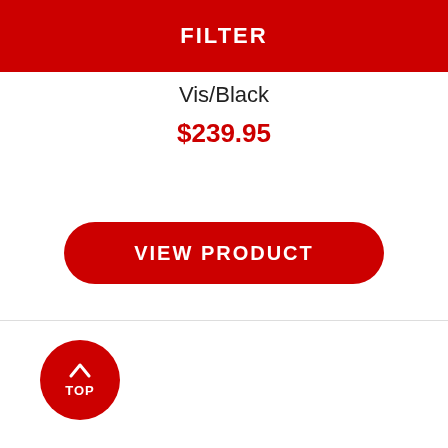FILTER
Vis/Black
$239.95
VIEW PRODUCT
[Figure (illustration): Black heart/favorite icon]
[Figure (illustration): Red circular TOP button with upward arrow and text TOP]